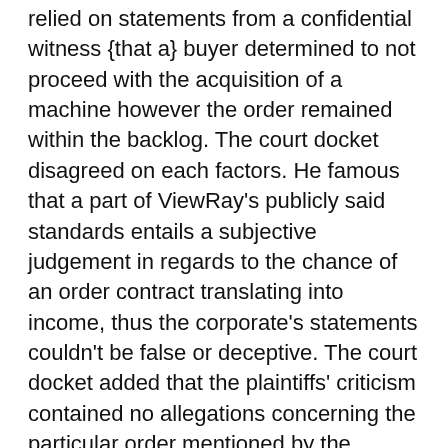relied on statements from a confidential witness {that a} buyer determined to not proceed with the acquisition of a machine however the order remained within the backlog. The court docket disagreed on each factors. He famous that a part of ViewRay's publicly said standards entails a subjective judgement in regards to the chance of an order contract translating into income, thus the corporate's statements couldn't be false or deceptive. The court docket added that the plaintiffs' criticism contained no allegations concerning the particular order mentioned by the confidential witness, nor did it allege details enough to help the witness' account.
Subsequent, the plaintiffs argued that ViewRay's statements in regards to the valuation of the backlog included orders that had been unlikely to return to fruition. The court docket said that neither the criticism